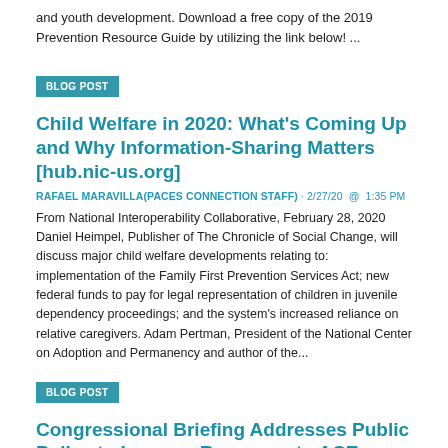and youth development. Download a free copy of the 2019 Prevention Resource Guide by utilizing the link below! ...
BLOG POST
Child Welfare in 2020: What's Coming Up and Why Information-Sharing Matters [hub.nic-us.org]
RAFAEL MARAVILLA(PACES CONNECTION STAFF) · 2/27/20 @ 1:35 PM
From National Interoperability Collaborative, February 28, 2020 Daniel Heimpel, Publisher of The Chronicle of Social Change, will discuss major child welfare developments relating to: implementation of the Family First Prevention Services Act; new federal funds to pay for legal representation of children in juvenile dependency proceedings; and the system's increased reliance on relative caregivers. Adam Pertman, President of the National Center on Adoption and Permanency and author of the...
BLOG POST
Congressional Briefing Addresses Public Policy to Improve Response to ACEs
ELIZABETH PREWITT PACESCONNECTION WRITER · 12/9/16 @ 11:12 AM
In the final weeks of the 114th Congress, Senator Heidi Heitkamp (D-ND)